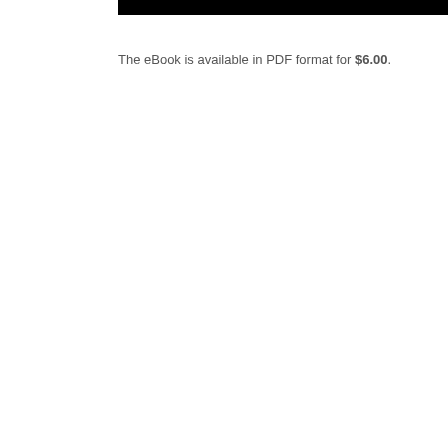[Figure (other): Black horizontal bar at top of page]
The eBook is available in PDF format for $6.00.